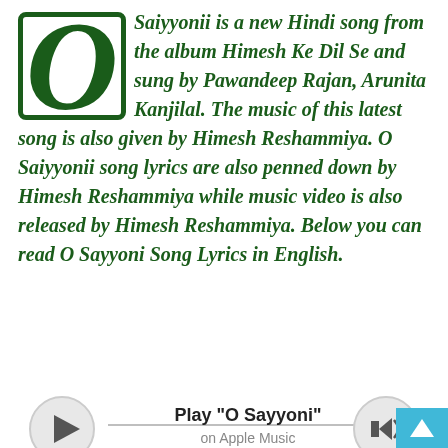O Saiyyonii is a new Hindi song from the album Himesh Ke Dil Se and sung by Pawandeep Rajan, Arunita Kanjilal. The music of this latest song is also given by Himesh Reshammiya. O Saiyyonii song lyrics are also penned down by Himesh Reshammiya while music video is also released by Himesh Reshammiya. Below you can read O Sayyoni Song Lyrics in English.
[Figure (other): Apple Music player widget with play button, track title 'Play O Sayyoni' on Apple Music, and volume button]